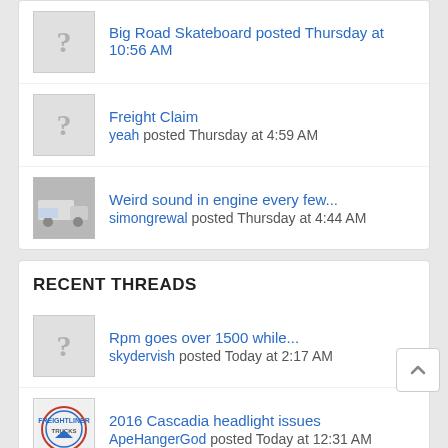Big Road Skateboard posted Thursday at 10:56 AM
Freight Claim
yeah posted Thursday at 4:59 AM
Weird sound in engine every few...
simongrewal posted Thursday at 4:44 AM
RECENT THREADS
Rpm goes over 1500 while...
skydervish posted Today at 2:17 AM
2016 Cascadia headlight issues
ApeHangerGod posted Today at 12:31 AM
Impatient 4 Wheeler Causes...
mjd4277 posted Yesterday at 11:47 PM
End of the 389
Long FLD posted Yesterday at 8:48 PM
AC freeze probe problem
jeffman164 posted Yesterday at 8:27 PM